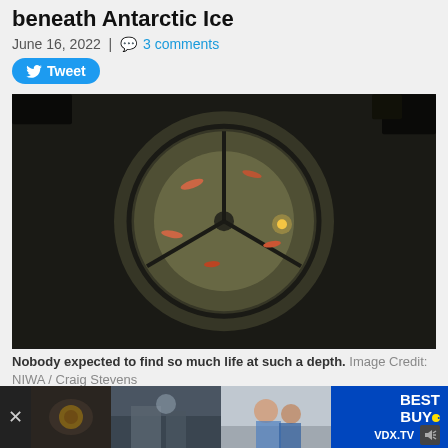beneath Antarctic Ice
June 16, 2022 | 3 comments
Tweet
[Figure (photo): Underwater camera view showing small fish and marine life beneath Antarctic ice, with a circular frame visible. Dark, dim lighting with small fish visible.]
Nobody expected to find so much life at such a depth. Image Credit: NIWA / Craig Stevens
Scientists have discovered a hidden ecosystem deep down beneath the ice of Antarctica's Larsen Ice Shelf.
[Figure (screenshot): Advertisement banner at bottom showing Best Buy ad with VDX.TV label and multiple thumbnail images]